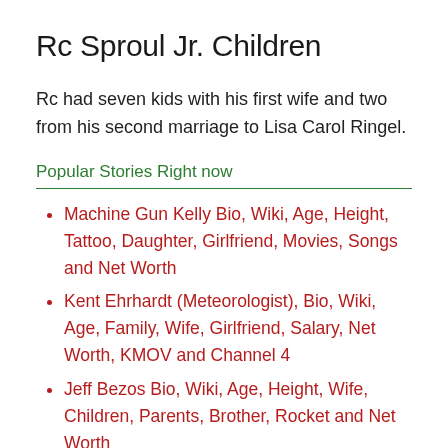Rc Sproul Jr. Children
Rc had seven kids with his first wife and two from his second marriage to Lisa Carol Ringel.
Popular Stories Right now
Machine Gun Kelly Bio, Wiki, Age, Height, Tattoo, Daughter, Girlfriend, Movies, Songs and Net Worth
Kent Ehrhardt (Meteorologist), Bio, Wiki, Age, Family, Wife, Girlfriend, Salary, Net Worth, KMOV and Channel 4
Jeff Bezos Bio, Wiki, Age, Height, Wife, Children, Parents, Brother, Rocket and Net Worth